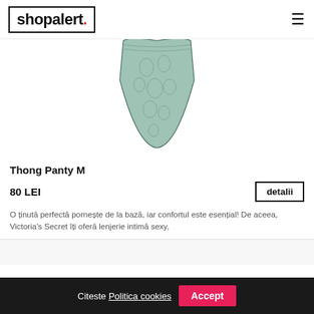shopalert.
[Figure (photo): Green lace thong panty product photo on white background]
Thong Panty M
80 LEI
detalii
O ținută perfectă pornește de la bază, iar confortul este esențial! De aceea, Victoria's Secret îți oferă lenjerie intimă sexy,
Citeste Politica cookies  Accept